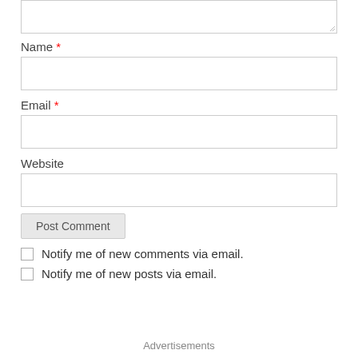[Figure (screenshot): Partial textarea (comment box) at top of page, showing only bottom portion with resize handle]
Name *
[Figure (screenshot): Name input field, empty text box]
Email *
[Figure (screenshot): Email input field, empty text box]
Website
[Figure (screenshot): Website input field, empty text box]
Post Comment
Notify me of new comments via email.
Notify me of new posts via email.
Advertisements